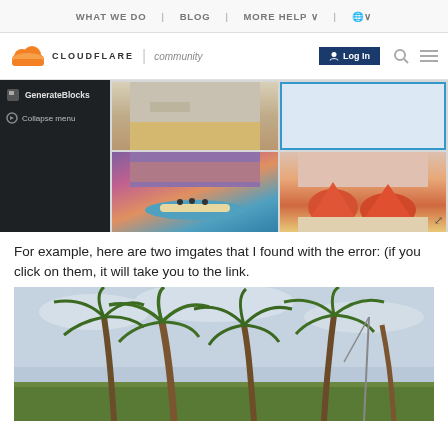WHAT WE DO | BLOG | MORE HELP ∨ | 🌐∨
[Figure (screenshot): Cloudflare Community website header with logo, navigation bar with Log In button, search and menu icons]
[Figure (screenshot): WordPress GenerateBlocks plugin sidebar panel (dark background) with Collapse menu option, and image gallery showing beach/ocean/tent photos in a grid layout with blue-bordered selected image]
For example, here are two imgates that I found with the error: (if you click on them, it will take you to the link.
[Figure (photo): Tropical beach scene with palm trees against a cloudy sky]